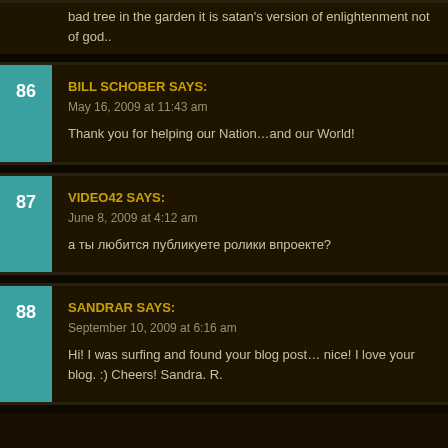bad tree in the garden it is satan's version of enlightenment not of god..
86 BILL SCHOBER SAYS:
May 16, 2009 at 11:43 am
Thank you for helping our Nation…and our World!
87 VIDEO42 SAYS:
June 8, 2009 at 4:12 am
а ты любится публикуете ролики впроекте?
88 SANDRAR SAYS:
September 10, 2009 at 6:16 am
Hi! I was surfing and found your blog post… nice! I love your blog. :) Cheers! Sandra. R.